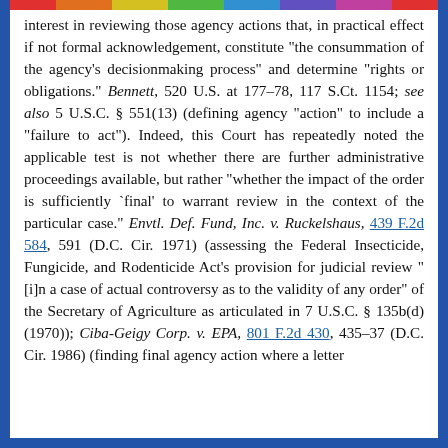interest in reviewing those agency actions that, in practical effect if not formal acknowledgement, constitute "the consummation of the agency's decisionmaking process" and determine "rights or obligations." Bennett, 520 U.S. at 177-78, 117 S.Ct. 1154; see also 5 U.S.C. § 551(13) (defining agency "action" to include a "failure to act"). Indeed, this Court has repeatedly noted the applicable test is not whether there are further administrative proceedings available, but rather "whether the impact of the order is sufficiently 'final' to warrant review in the context of the particular case." Envtl. Def. Fund, Inc. v. Ruckelshaus, 439 F.2d 584, 591 (D.C. Cir. 1971) (assessing the Federal Insecticide, Fungicide, and Rodenticide Act's provision for judicial review "[i]n a case of actual controversy as to the validity of any order" of the Secretary of Agriculture as articulated in 7 U.S.C. § 135b(d) (1970)); Ciba-Geigy Corp. v. EPA, 801 F.2d 430, 435-37 (D.C. Cir. 1986) (finding final agency action where a letter